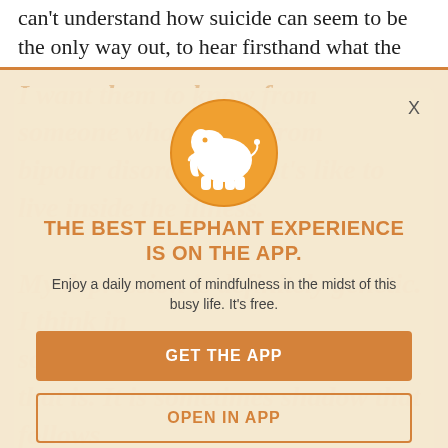can't understand how suicide can seem to be the only way out, to hear firsthand what the
[Figure (screenshot): App promotion modal overlay on the Elephant Journal website. Contains an elephant logo in an orange circle, bold orange text 'THE BEST ELEPHANT EXPERIENCE IS ON THE APP.', subtitle text 'Enjoy a daily moment of mindfulness in the midst of this busy life. It's free.', an orange filled button 'GET THE APP', and an orange outlined button 'OPEN IN APP'. A close 'X' button is in the top right corner. Background shows ghosted orange italic article text about depression.]